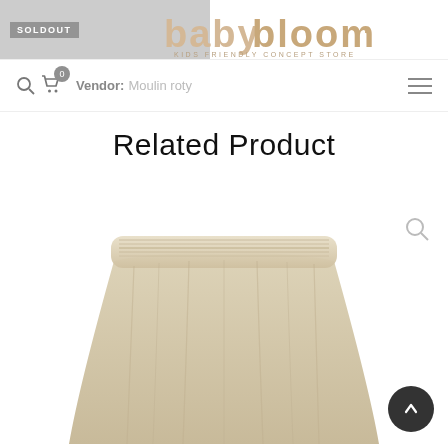[Figure (screenshot): Website header with SOLDOUT badge, baby bloom logo (kids friendly concept store), navigation bar with search icon, cart icon with 0 badge, Vendor: Moulin roty text, and hamburger menu]
Related Product
[Figure (photo): Beige/khaki gathered smocked-waist children's skirt on white background with a search/zoom icon in the upper right and a scroll-to-top dark circular button in the lower right]